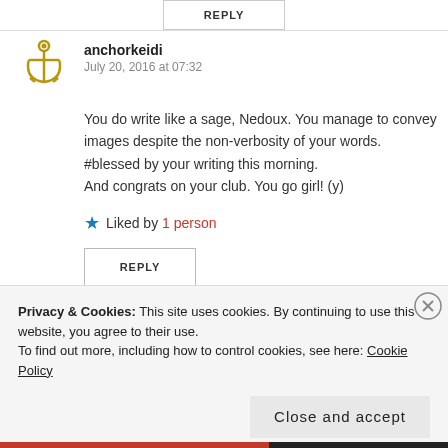REPLY
anchorkeidi
July 20, 2016 at 07:32
You do write like a sage, Nedoux. You manage to convey images despite the non-verbosity of your words. #blessed by your writing this morning.
And congrats on your club. You go girl! (y)
Liked by 1 person
REPLY
Privacy & Cookies: This site uses cookies. By continuing to use this website, you agree to their use.
To find out more, including how to control cookies, see here: Cookie Policy
Close and accept